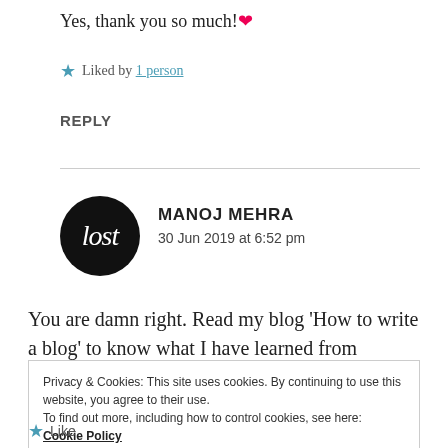Yes, thank you so much! ❤
★ Liked by 1 person
REPLY
MANOJ MEHRA
30 Jun 2019 at 6:52 pm
You are damn right. Read my blog 'How to write a blog' to know what I have learned from blogging
Privacy & Cookies: This site uses cookies. By continuing to use this website, you agree to their use.
To find out more, including how to control cookies, see here: Cookie Policy
Close and accept
★ Like